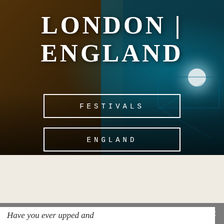[Figure (photo): Dark concert/festival background photo showing DJ equipment and a performer lit with teal/blue lighting on the right side, with warm brown/amber tones on the left. The image is heavily color-graded with dark shadows.]
LONDON | ENGLAND
FESTIVALS
ENGLAND
Share This
Have you ever upped and